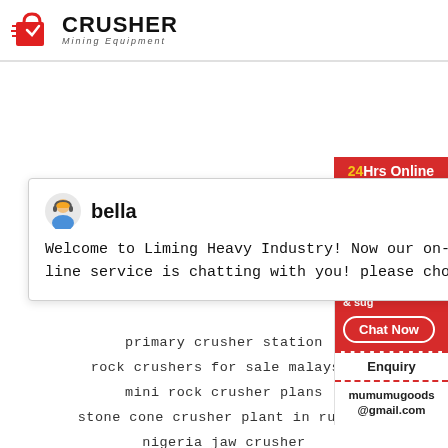[Figure (logo): Crusher Mining Equipment logo with red shopping bag icon and bold CRUSHER text, subtitle Mining Equipment]
24Hrs Online
[Figure (illustration): Chat popup with agent avatar (bella), close button, and welcome message: Welcome to Liming Heavy Industry! Now our online service is chatting with you! please choose:]
[Figure (illustration): Right sidebar with customer service photo, Need & suggestions panel, chat now button, blue badge with number 1, Enquiry section, and mumumugoods@gmail.com email]
primary crusher station
rock crushers for sale malaysia
mini rock crusher plans
stone cone crusher plant in russia
nigeria jaw crusher